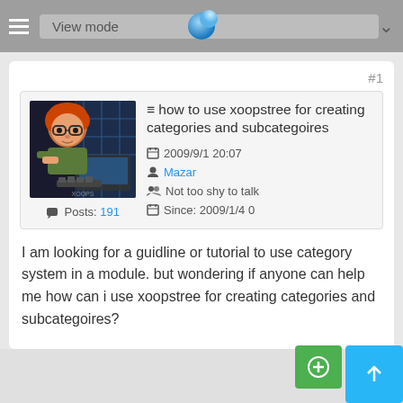View mode
#1
[Figure (photo): Avatar image of a person with red hair and glasses at a keyboard, dark toned illustration]
≡ how to use xoopstree for creating categories and subcategoires
2009/9/1 20:07
Mazar
Not too shy to talk
Posts: 191
Since: 2009/1/4 0
I am looking for a guidline or tutorial to use category system in a module. but wondering if anyone can help me how can i use xoopstree for creating categories and subcategoires?